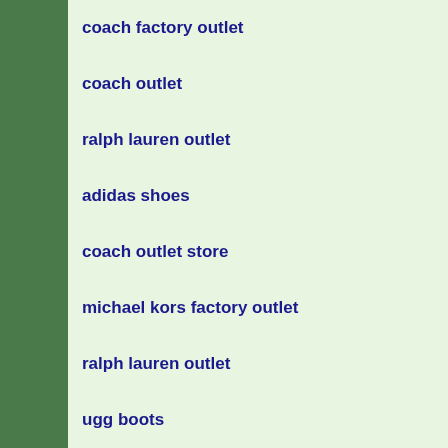coach factory outlet
coach outlet
ralph lauren outlet
adidas shoes
coach outlet store
michael kors factory outlet
ralph lauren outlet
ugg boots